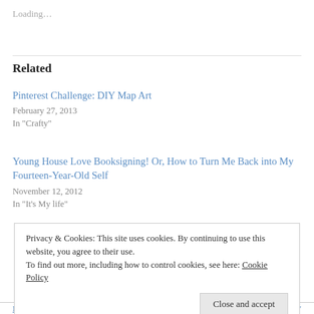Loading…
Related
Pinterest Challenge: DIY Map Art
February 27, 2013
In "Crafty"
Young House Love Booksigning! Or, How to Turn Me Back into My Fourteen-Year-Old Self
November 12, 2012
In "It's My life"
Privacy & Cookies: This site uses cookies. By continuing to use this website, you agree to their use.
To find out more, including how to control cookies, see here: Cookie Policy
Close and accept